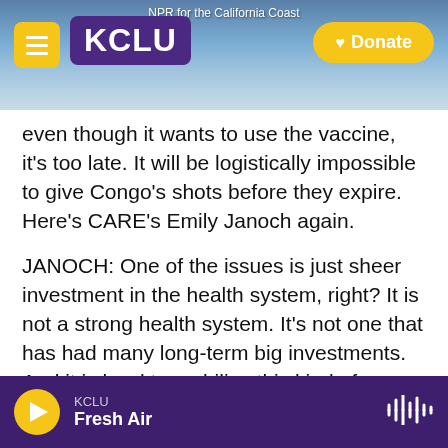NPR for the California Coast | KCLU | Donate
even though it wants to use the vaccine, it's too late. It will be logistically impossible to give Congo's shots before they expire. Here's CARE's Emily Janoch again.
JANOCH: One of the issues is just sheer investment in the health system, right? It is not a strong health system. It's not one that has had many long-term big investments. And it is hard to mobilize this kind of a massive campaign with a completely new population that typically doesn't get vaccinated in such a short time.
KCLU Fresh Air